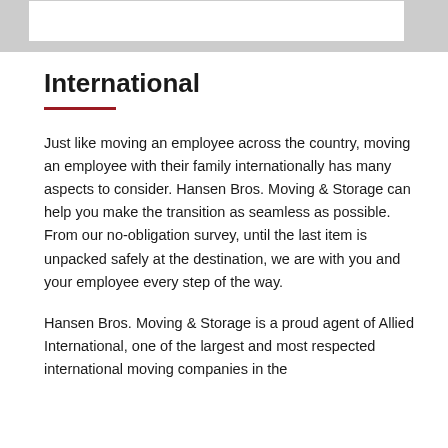International
Just like moving an employee across the country, moving an employee with their family internationally has many aspects to consider. Hansen Bros. Moving & Storage can help you make the transition as seamless as possible. From our no-obligation survey, until the last item is unpacked safely at the destination, we are with you and your employee every step of the way.
Hansen Bros. Moving & Storage is a proud agent of Allied International, one of the largest and most respected international moving companies in the